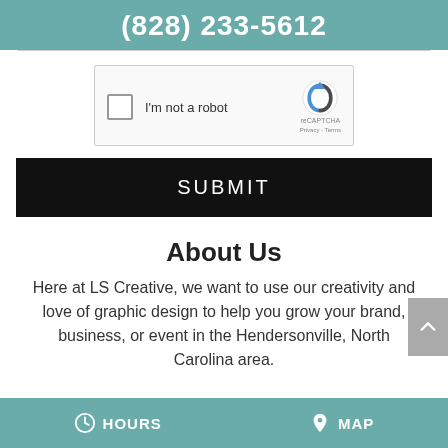(828) 233-5612
[Figure (screenshot): reCAPTCHA widget with checkbox labeled 'I'm not a robot' and reCAPTCHA logo on the right]
SUBMIT
About Us
Here at LS Creative, we want to use our creativity and love of graphic design to help you grow your brand, business, or event in the Hendersonville, North Carolina area.
HOURS   MAP